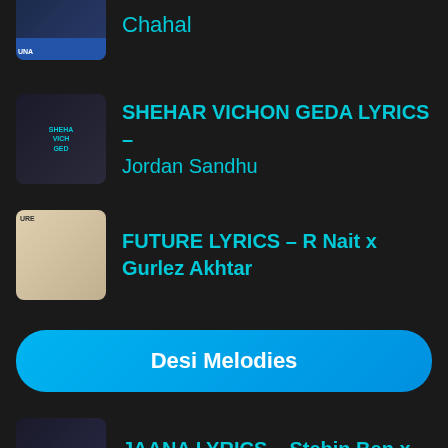Chahal
SHEHAR VICHON GEDA LYRICS – Jordan Sandhu
FUTURE LYRICS – R Nait x Gurlez Akhtar
Desi Melodies
JAANA LYRICS – Stebin Ben x Jaani
MERE BAARE LYRICS – Simran Raj